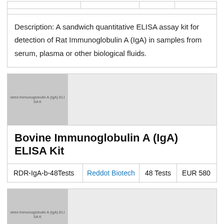|  |  |  |  |
| --- | --- | --- | --- |
|  |  |  |  |
Description: A sandwich quantitative ELISA assay kit for detection of Rat Immunoglobulin A (IgA) in samples from serum, plasma or other biological fluids.
[Figure (photo): Product image placeholder for Bovine Immunoglobulin A (IgA) ELISA Kit with text 'sired Immunoglobulin A (IgA) ELISA K']
Bovine Immunoglobulin A (IgA) ELISA Kit
|  |  |  |  |
| --- | --- | --- | --- |
| RDR-IgA-b-48Tests | Reddot Biotech | 48 Tests | EUR 580 |
[Figure (photo): Product image placeholder with text 'sired Immunoglobulin A (IgA) ELISA K']